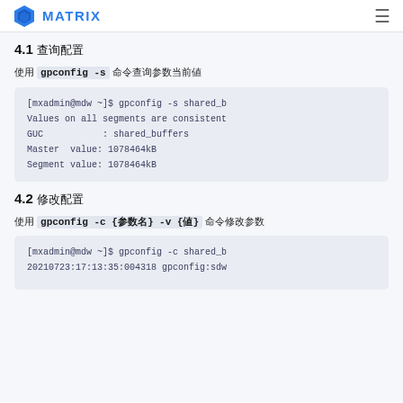MATRIX
4.1 查询配置
使用 gpconfig -s 命令查询参数当前值
[Figure (screenshot): Terminal code block showing: [mxadmin@mdw ~]$ gpconfig -s shared_b
Values on all segments are consistent
GUC           : shared_buffers
Master  value: 1078464kB
Segment value: 1078464kB]
4.2 修改配置
使用 gpconfig -c {参数名} -v {值} 命令修改参数
[Figure (screenshot): Terminal code block showing: [mxadmin@mdw ~]$ gpconfig -c shared_b
20210723:17:13:35:004318 gpconfig:sdw]